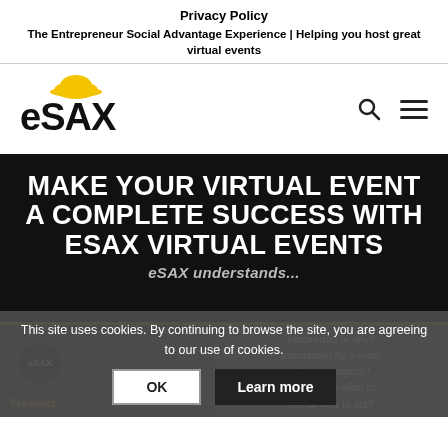Privacy Policy
The Entrepreneur Social Advantage Experience | Helping you host great virtual events
[Figure (logo): eSAX logo with yellow hard hat above the X]
MAKE YOUR VIRTUAL EVENT A COMPLETE SUCCESS WITH eSAX VIRTUAL EVENTS
This site uses cookies. By continuing to browse the site, you are agreeing to our use of cookies.
OK  Learn more